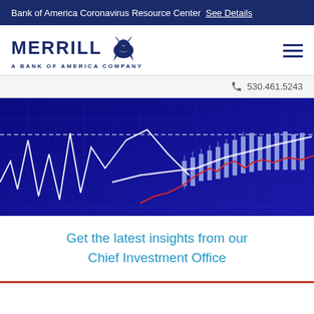Bank of America Coronavirus Resource Center See Details
[Figure (logo): Merrill Lynch logo with bull icon and text 'MERRILL A BANK OF AMERICA COMPANY']
530.461.5243
[Figure (illustration): Stock market candlestick chart with white and red line graphs on a dark blue grid background]
Get the latest insights from our Chief Investment Office